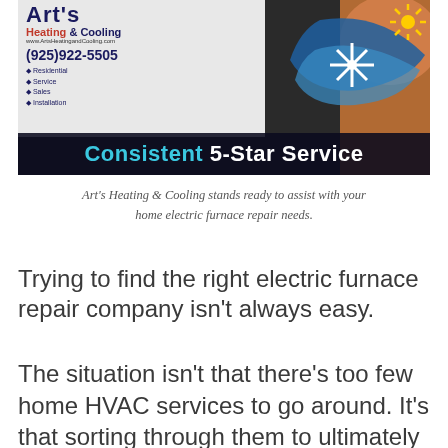[Figure (photo): Art's Heating & Cooling service van with company logo, phone number (925)922-5505, services listed (Residential, Service, Sales, Installation), and a circular HVAC logo with snowflake and sun motifs. Black banner at bottom reads 'Consistent 5-Star Service' with 'Consistent' in cyan.]
Art's Heating & Cooling stands ready to assist with your home electric furnace repair needs.
Trying to find the right electric furnace repair company isn't always easy.
The situation isn't that there's too few home HVAC services to go around. It's that sorting through them to ultimately identify a really good